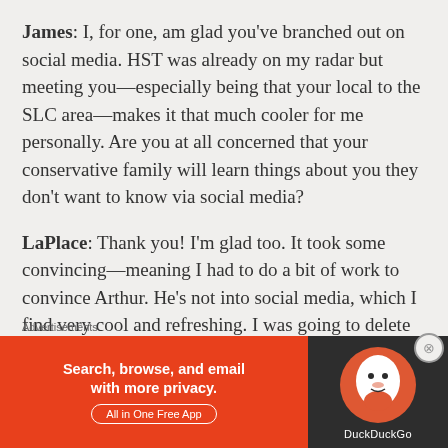James: I, for one, am glad you've branched out on social media. HST was already on my radar but meeting you—especially being that your local to the SLC area—makes it that much cooler for me personally. Are you at all concerned that your conservative family will learn things about you they don't want to know via social media?
LaPlace: Thank you! I'm glad too. It took some convincing—meaning I had to do a bit of work to convince Arthur. He's not into social media, which I find very cool and refreshing. I was going to delete my Facebook entirely until we
Advertisements
[Figure (other): DuckDuckGo advertisement banner: orange left panel with text 'Search, browse, and email with more privacy. All in One Free App' and dark right panel with DuckDuckGo logo and name.]